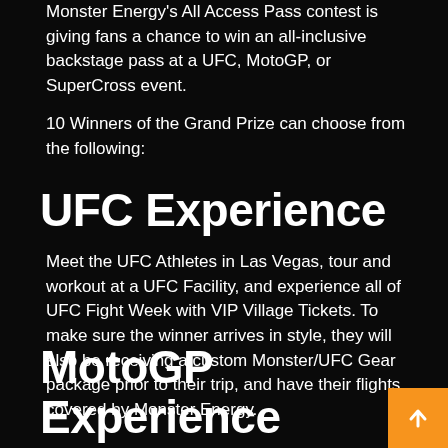Monster Energy's All Access Pass contest is giving fans a chance to win an all-inclusive backstage pass at a UFC, MotoGP, or SuperCross event.
10 Winners of the Grand Prize can choose from the following:
UFC Experience
Meet the UFC Athletes in Las Vegas, tour and workout at a UFC Facility, and experience all of UFC Fight Week with VIP Village Tickets. To make sure the winner arrives in style, they will also be receiving a custom Monster/UFC Gear package prior to their trip, and have their flights covered by Monster Energy.
MotoGP Experience